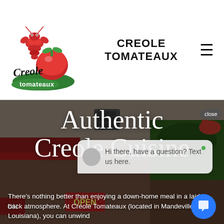[Figure (logo): Creole Tomateaux restaurant logo with crawfish and tomato graphic, script lettering]
CREOLE TOMATEAUX
[Figure (photo): Exterior photo of Creole Tomateaux restaurant in Mandeville Louisiana, showing signage with crawfish logo and an open sign]
Authentic Creole Cuisine
Hi there, have a question? Text us here.
There's nothing better than enjoying a down-home meal in a laid-back atmosphere. At Creole Tomateaux (located in Mandeville, Louisiana), you can unwind